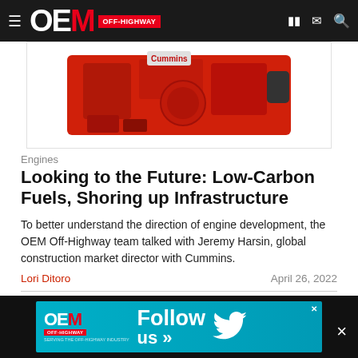OEM OFF-HIGHWAY
[Figure (photo): Red Cummins engine on white background]
Engines
Looking to the Future: Low-Carbon Fuels, Shoring up Infrastructure
To better understand the direction of engine development, the OEM Off-Highway team talked with Jeremy Harsin, global construction market director with Cummins.
Lori Ditoro   April 26, 2022
[Figure (photo): Dark background image partially visible at bottom]
[Figure (illustration): OEM Off-Highway Twitter follow advertisement banner]